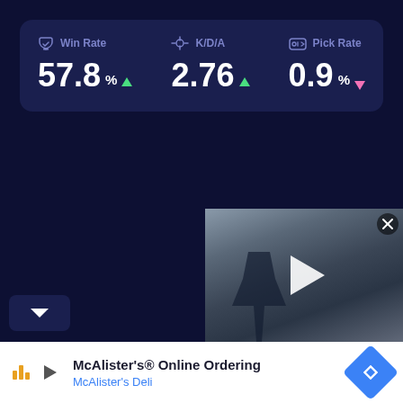[Figure (infographic): Gaming stats card showing Win Rate 57.8% (up arrow), K/D/A 2.76 (up arrow), Pick Rate 0.9% (down arrow) on a dark navy background card]
[Figure (screenshot): Video ad overlay on the right side showing a man in a suit walking near cars under a bridge, with a play button in the center and a close (X) button in the top right]
[Figure (screenshot): Bottom advertisement bar: McAlister's Online Ordering / McAlister's Deli with a blue diamond navigation icon on the right]